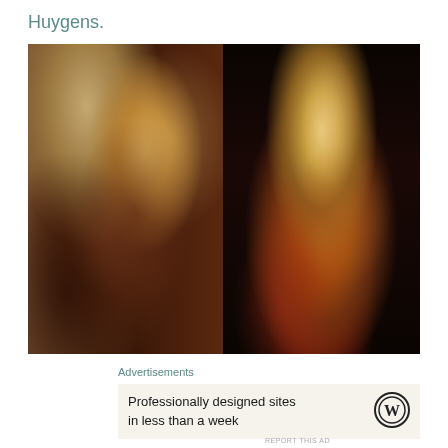Huygens.
[Figure (photo): Two side-by-side historical oil paintings. Left: a man in 17th-century dress with long dark hair, gesturing near a globe/armillary sphere and a building painting in the background. Right: a man with voluminous curly auburn hair in 17th-century attire holding a fabric object, against a dark background.]
Advertisements
Professionally designed sites in less than a week
REPORT THIS AD